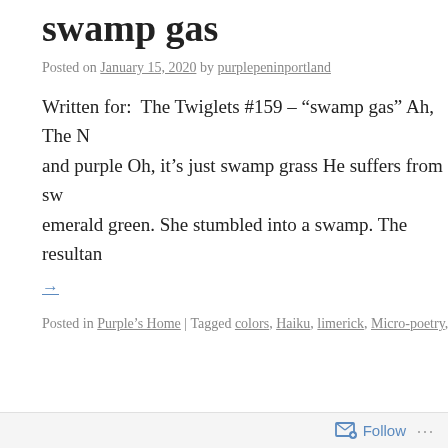swamp gas
Posted on January 15, 2020 by purplepeninportland
Written for:  The Twiglets #159 – “swamp gas” Ah, The N and purple Oh, it’s just swamp grass He suffers from sw emerald green. She stumbled into a swamp. The resultan
→
Posted in Purple’s Home | Tagged colors, Haiku, limerick, Micro-poetry, od
Follow ...